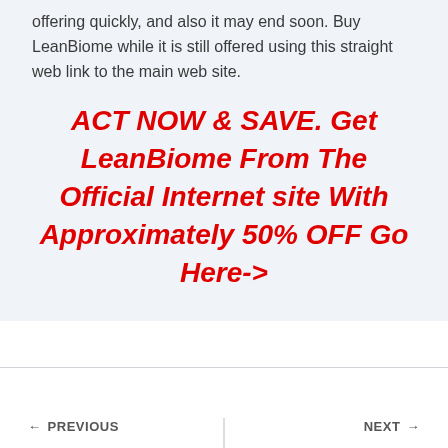offering quickly, and also it may end soon. Buy LeanBiome while it is still offered using this straight web link to the main web site.
ACT NOW & SAVE. Get LeanBiome From The Official Internet site With Approximately 50% OFF Go Here->
← PREVIOUS    NEXT →